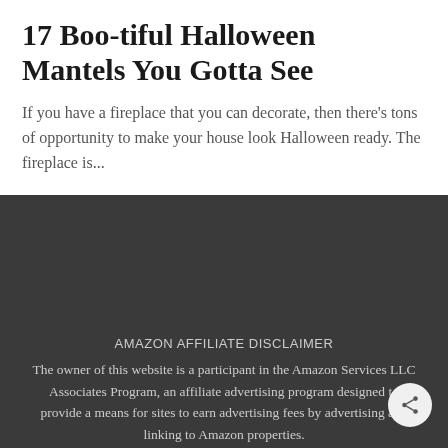17 Boo-tiful Halloween Mantels You Gotta See
If you have a fireplace that you can decorate, then there's tons of opportunity to make your house look Halloween ready. The fireplace is...
AMAZON AFFILIATE DISCLAIMER
The owner of this website is a participant in the Amazon Services LLC Associates Program, an affiliate advertising program designed to provide a means for sites to earn advertising fees by advertising and linking to Amazon properties.